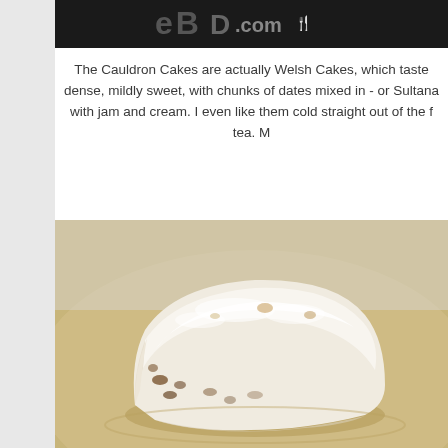[Figure (photo): Dark banner at top with partially visible text/logo on dark background]
The Cauldron Cakes are actually Welsh Cakes, which taste dense, mildly sweet, with chunks of dates mixed in - or Sultanas - with jam and cream. I even like them cold straight out of the f... tea. M...
[Figure (photo): A Welsh cake dusted with powdered sugar on a tan/gold plate, showing the interior with dried fruit chunks]